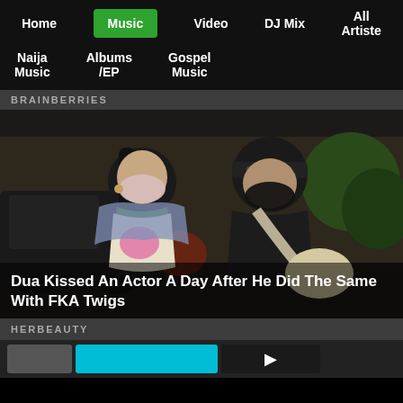Home | Music | Video | DJ Mix | All Artiste
Naija Music | Albums /EP | Gospel Music
BRAINBERRIES
[Figure (photo): Two people wearing face masks walking outdoors at night. The woman on the left wears a light pink mask, a colorful graphic t-shirt with a blue/grey vest draped over shoulders. The man on the right wears a black mask and black t-shirt with a cream crossbody bag.]
Dua Kissed An Actor A Day After He Did The Same With FKA Twigs
HERBEAUTY